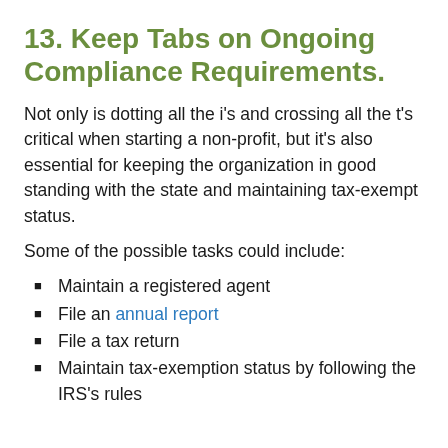13. Keep Tabs on Ongoing Compliance Requirements.
Not only is dotting all the i's and crossing all the t's critical when starting a non-profit, but it's also essential for keeping the organization in good standing with the state and maintaining tax-exempt status.
Some of the possible tasks could include:
Maintain a registered agent
File an annual report
File a tax return
Maintain tax-exemption status by following the IRS's rules